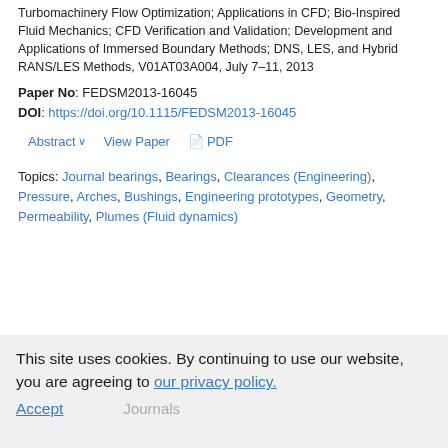Turbomachinery Flow Optimization; Applications in CFD; Bio-Inspired Fluid Mechanics; CFD Verification and Validation; Development and Applications of Immersed Boundary Methods; DNS, LES, and Hybrid RANS/LES Methods, V01AT03A004, July 7–11, 2013
Paper No: FEDSM2013-16045
DOI: https://doi.org/10.1115/FEDSM2013-16045
Abstract ∨   View Paper   📄 PDF
Topics: Journal bearings, Bearings, Clearances (Engineering), Pressure, Arches, Bushings, Engineering prototypes, Geometry, Permeability, Plumes (Fluid dynamics)
This site uses cookies. By continuing to use our website, you are agreeing to our privacy policy. Accept   Journals